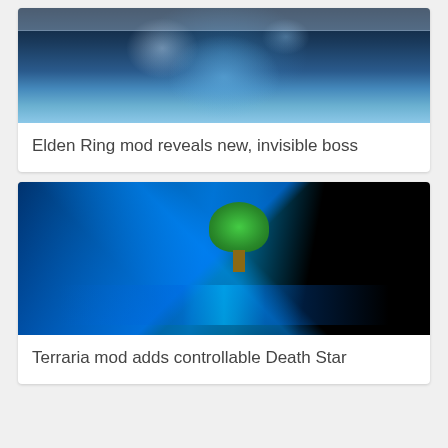[Figure (photo): Blue mystical figure or wolf with glowing eyes and decorative lace/fur trim at top, dark blue tones]
Elden Ring mod reveals new, invisible boss
[Figure (screenshot): Dark game screenshot with bright blue laser beams converging at a point, with a green tree character in the center, from Terraria game]
Terraria mod adds controllable Death Star